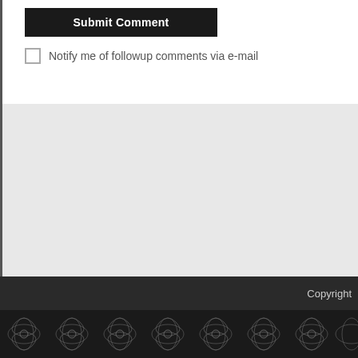Submit Comment
Notify me of followup comments via e-mail
Copyright